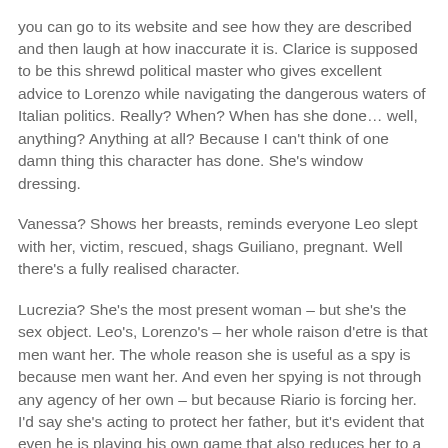you can go to its website and see how they are described and then laugh at how inaccurate it is. Clarice is supposed to be this shrewd political master who gives excellent advice to Lorenzo while navigating the dangerous waters of Italian politics. Really? When? When has she done… well, anything? Anything at all? Because I can't think of one damn thing this character has done. She's window dressing.
Vanessa? Shows her breasts, reminds everyone Leo slept with her, victim, rescued, shags Guiliano, pregnant. Well there's a fully realised character.
Lucrezia? She's the most present woman – but she's the sex object. Leo's, Lorenzo's – her whole raison d'etre is that men want her. The whole reason she is useful as a spy is because men want her. And even her spying is not through any agency of her own – but because Riario is forcing her. I'd say she's acting to protect her father, but it's evident that even he is playing his own game that also reduces her to a tool. Along the way she is demeaned and insulted, often for the very sexuality everyone requires her to use as a tool or prize. Even her stabbing people in the last 2 episodes is not due to any strength or agency in her part – it's the whole